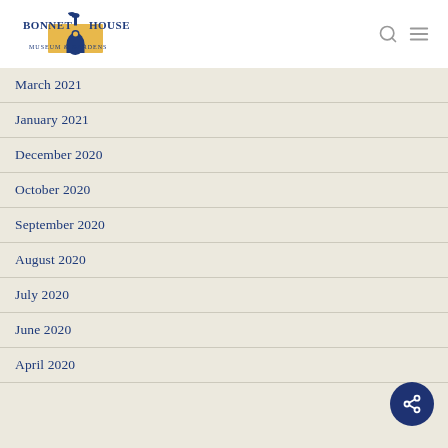Bonnet House Museum & Gardens
March 2021
January 2021
December 2020
October 2020
September 2020
August 2020
July 2020
June 2020
April 2020